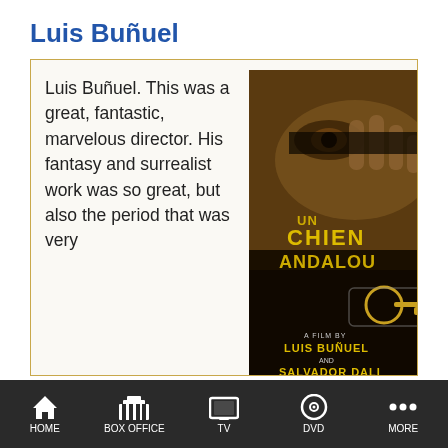Luis Buñuel
Luis Buñuel. This was a great, fantastic, marvelous director. His fantasy and surrealist work was so great, but also the period that was very
[Figure (photo): Movie poster for 'Un Chien Andalou', a film by Luis Buñuel and Salvador Dali. Dark sepia-toned poster showing a hand and eye, with bold yellow text reading 'UN CHIEN ANDALOU'.]
HOME   BOX OFFICE   TV   DVD   MORE